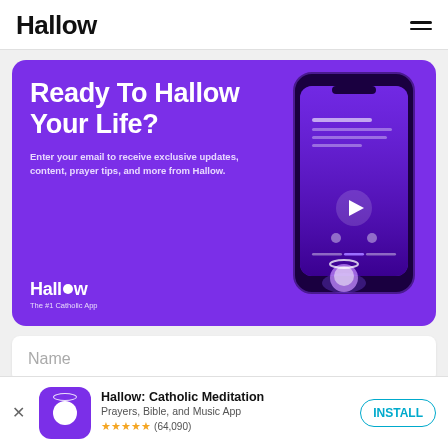Hallow
[Figure (screenshot): Purple promotional banner for Hallow app showing 'Ready To Hallow Your Life?' headline with phone mockup illustration and Hallow logo]
Enter your email to receive exclusive updates, content, prayer tips, and more from Hallow.
Name
Hallow: Catholic Meditation
Prayers, Bible, and Music App
★★★★★ (64,090)
INSTALL